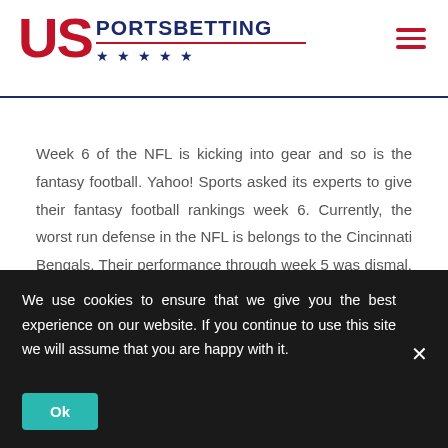US PORTSBETTING
Week 6 of the NFL is kicking into gear and so is the fantasy football. Yahoo! Sports asked its experts to give their fantasy football rankings week 6. Currently, the worst run defense in the NFL is belongs to the Cincinnati Bengals. Their performance through week 5 was dismal. Furthermore, while there haven't been huge [...]
We use cookies to ensure that we give you the best experience on our website. If you continue to use this site we will assume that you are happy with it.